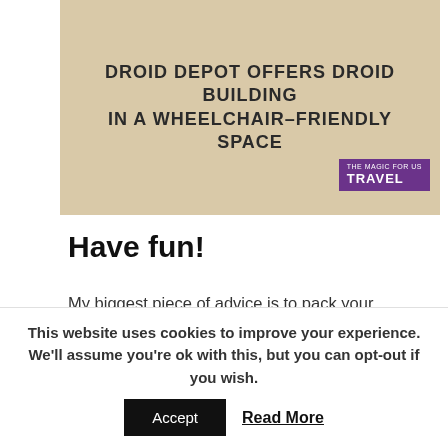[Figure (screenshot): Image banner with tan/beige background and bold text reading 'DROID DEPOT OFFERS DROID BUILDING IN A WHEELCHAIR-FRIENDLY SPACE' with a purple TRAVEL badge in the lower right corner]
Have fun!
My biggest piece of advice is to pack your patience.  It can be exhausting traveling, let alone with mobility issues or other special needs.  Remember that the biggest goal of a vacation is to enjoy each other.  Taking the time to relax and recoup is essential. We vacation differently now than we used to, but it is just as
This website uses cookies to improve your experience. We'll assume you're ok with this, but you can opt-out if you wish.
Accept   Read More